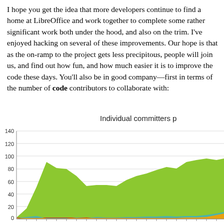I hope you get the idea that more developers continue to find a home at LibreOffice and work together to complete some rather significant work both under the hood, and also on the trim. I've enjoyed hacking on several of these improvements. Our hope is that as the on-ramp to the project gets less precipitous, people will join us, and find out how fun, and how much easier it is to improve the code these days. You'll also be in good company—first in terms of the number of code contributors to collaborate with:
Individual committers p
[Figure (area-chart): Stacked area chart showing individual committers over time, with layers in dark green, orange, yellow, red, light green, blue and other colors. Y-axis ranges from 0 to 140.]